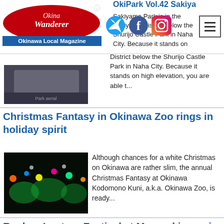OkiPark Vol.42 Sakiyama Park — Okinawa Wanderer, Okinawa Local Magazine
OkiPark Vol.42 Sakiyama Park
Sakiyama Park is in the Sakiyama District below the Shurijo Castle Park in Naha City. Because it stands on high elevation, you are able t...
Christmas Fantasy in Okinawa Zoo rings in holiday spirit
Although chances for a white Christmas on Okinawa are rather slim, the annual Christmas Fantasy at Okinawa Kodomono Kuni, a.k.a. Okinawa Zoo, is ready...
Ryukyu Lantern Festival at Murasakimura in Yomitan village
The annual Ryukyu Lantern festival at Murasakimura in Yomitan village will begin on Dec. 3 and continue through March 27th. The beautiful illumination...